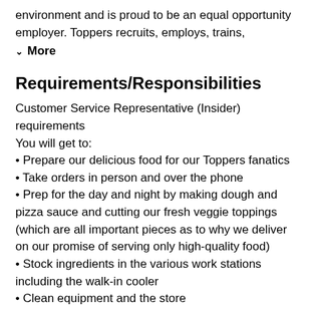environment and is proud to be an equal opportunity employer. Toppers recruits, employs, trains,
▾  More
Requirements/Responsibilities
Customer Service Representative (Insider) requirements
You will get to:
• Prepare our delicious food for our Toppers fanatics
• Take orders in person and over the phone
• Prep for the day and night by making dough and pizza sauce and cutting our fresh veggie toppings (which are all important pieces as to why we deliver on our promise of serving only high-quality food)
• Stock ingredients in the various work stations including the walk-in cooler
• Clean equipment and the store
Every Toppers store and team has its magic, and we